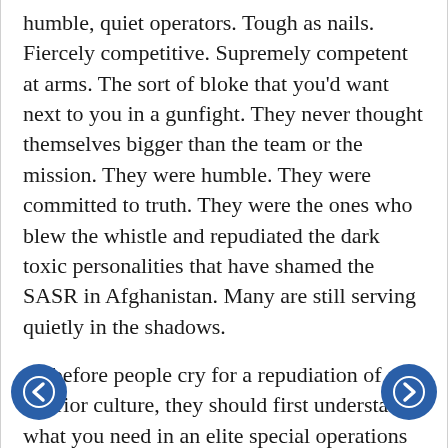humble, quiet operators. Tough as nails. Fiercely competitive. Supremely competent at arms. The sort of bloke that you'd want next to you in a gunfight. They never thought themselves bigger than the team or the mission. They were humble. They were committed to truth. They were the ones who blew the whistle and repudiated the dark toxic personalities that have shamed the SASR in Afghanistan. Many are still serving quietly in the shadows.
So before people cry for a repudiation of all warrior culture, they should first understand what you need in an elite special operations unit. You need people who run to the sound of the guns. Who are prepared to fight and destroy Australia's enemies. Who will die doing so, if necessary. Those men exist. They are serving at present. They have done nothing wrong. We need to